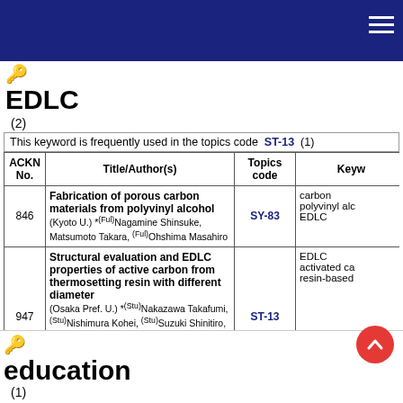EDLC
(2)
This keyword is frequently used in the topics code ST-13 (1)
| ACKN No. | Title/Author(s) | Topics code | Keyw |
| --- | --- | --- | --- |
| 846 | Fabrication of porous carbon materials from polyvinyl alcohol (Kyoto U.) *(Ful)Nagamine Shinsuke, Matsumoto Takara, (Ful)Ohshima Masahiro | SY-83 | carbon polyvinyl alc EDLC |
| 947 | Structural evaluation and EDLC properties of active carbon from thermosetting resin with different diameter (Osaka Pref. U.) *(Stu)Nakazawa Takafumi, (Stu)Nishimura Kohei, (Stu)Suzuki Shinitiro, (Ful)Okamoto Naoki, (Ful)Saito Takeyasu, (Lignyte Inc) (Ful)Ide Isamu, (Ful)Nishikawa Masanobu, (Ful)Onishi Yoshikazu | ST-13 | EDLC activated ca resin-based |
education
(1)